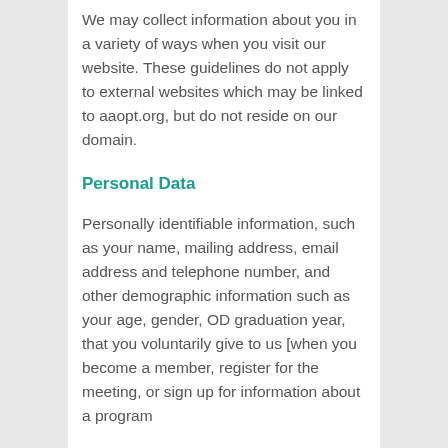We may collect information about you in a variety of ways when you visit our website. These guidelines do not apply to external websites which may be linked to aaopt.org, but do not reside on our domain.
Personal Data
Personally identifiable information, such as your name, mailing address, email address and telephone number, and other demographic information such as your age, gender, OD graduation year, that you voluntarily give to us [when you become a member, register for the meeting, or sign up for information about a program